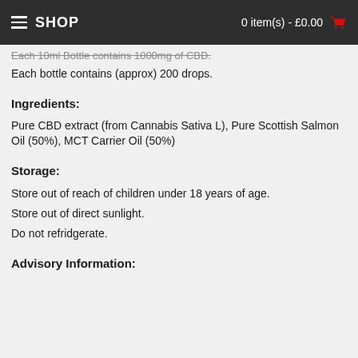SHOP | 0 item(s) - £0.00
Each 10ml Bottle contains 1000mg of CBD.
Each bottle contains (approx) 200 drops.
Ingredients:
Pure CBD extract (from Cannabis Sativa L), Pure Scottish Salmon Oil (50%), MCT Carrier Oil (50%)
Storage:
Store out of reach of children under 18 years of age.
Store out of direct sunlight.
Do not refridgerate.
Advisory Information: